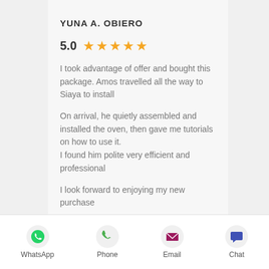YUNA A. OBIERO
5.0 ★★★★★
I took advantage of offer and bought this package. Amos travelled all the way to Siaya to install
On arrival, he quietly assembled and installed the oven, then gave me tutorials on how to use it. I found him polite very efficient and professional
I look forward to enjoying my new purchase
[Figure (infographic): Bottom navigation bar with WhatsApp, Phone, Email, and Chat icons]